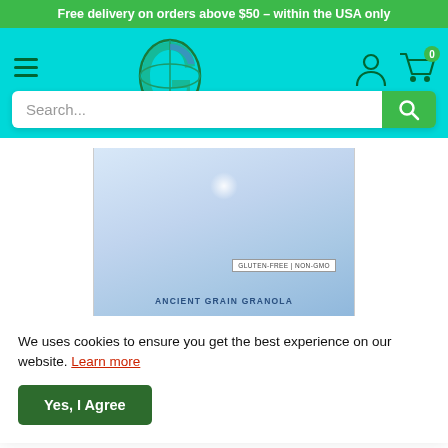Free delivery on orders above $50 – within the USA only
[Figure (screenshot): E-commerce website header with cyan/teal background, hamburger menu icon on left, circular green logo in center, user account icon and shopping cart icon with badge '0' on right]
Search...
[Figure (photo): Product image of Ancient Grain Granola package with light blue/white background, showing GLUTEN-FREE | NON-GMO label and ANCIENT GRAIN GRANOLA text at bottom]
We uses cookies to ensure you get the best experience on our website. Learn more
Yes, I Agree